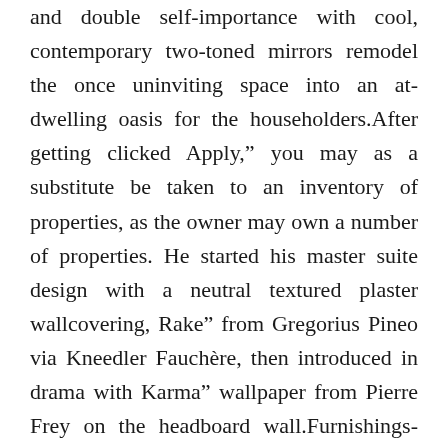and double self-importance with cool, contemporary two-toned mirrors remodel the once uninviting space into an at-dwelling oasis for the householders.After getting clicked Apply," you may as a substitute be taken to an inventory of properties, as the owner may own a number of properties. He started his master suite design with a neutral textured plaster wallcovering, Rake" from Gregorius Pineo via Kneedler Fauchère, then introduced in drama with Karma" wallpaper from Pierre Frey on the headboard wall.Furnishings-impressed bathtub vanities deliver fashion and storage to any bathroom. See beautiful designer kitchens the place colour is highlighted via the cabinetry. It is a bright white Farmhouse-fashion kitchen mostly on account of its white shaker cupboards and drawers augmented by the white ceiling and the pure gentle coming in from the